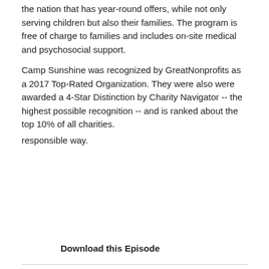the nation that has year-round offers, while not only serving children but also their families. The program is free of charge to families and includes on-site medical and psychosocial support.
Camp Sunshine was recognized by GreatNonprofits as a 2017 Top-Rated Organization. They were also were awarded a 4-Star Distinction by Charity Navigator -- the highest possible recognition -- and is ranked about the top 10% of all charities.
responsible way.
Download this Episode
The "Love Heals" Method -- Thistle Farms
Jul 28, 2017
For many women with a history of sex trafficking, prostitution or addiction, hope can be hard to find. But Thistle Farms is using love to help empower, reinvent, and employ women around the world.